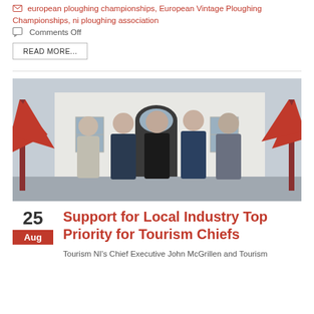european ploughing championships, European Vintage Ploughing Championships, ni ploughing association
Comments Off
READ MORE...
[Figure (photo): Five people posing for a group photo outside a white building with red umbrellas. From left: a woman in light grey dress, an older man in navy suit, a young man in black t-shirt (centre), a tall man in blue jacket, and a man in grey jacket.]
25 Aug
Support for Local Industry Top Priority for Tourism Chiefs
Tourism NI's Chief Executive John McGrillen and Tourism